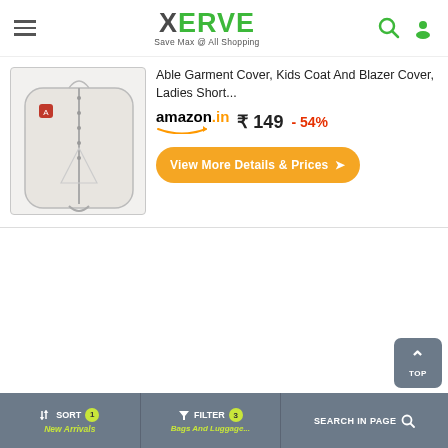XERVE — Save Max @ All Shopping
Able Garment Cover, Kids Coat And Blazer Cover, Ladies Short...
amazon.in  ₹ 149  - 54%
View More Details & Prices ❯
[Figure (photo): White/off-white garment bag cover with zipper, small red tag, hanging loop at bottom]
SORT 1 New Arrivals | FILTER 3 Bags And Luggage... | SEARCH IN PAGE